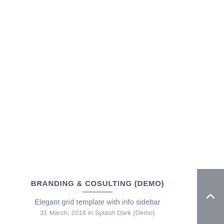BRANDING & COSULTING (DEMO)
Elegant grid template with info sidebar
31 March, 2016 in Splash Dark (Demo)